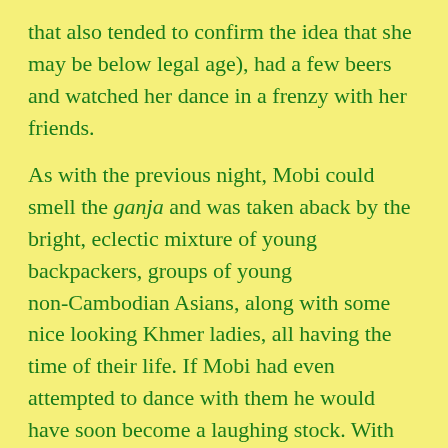that also tended to confirm the idea that she may be below legal age), had a few beers and watched her dance in a frenzy with her friends.

As with the previous night, Mobi could smell the ganja and was taken aback by the bright, eclectic mixture of young backpackers, groups of young non-Cambodian Asians, along with some nice looking Khmer ladies, all having the time of their life. If Mobi had even attempted to dance with them he would have soon become a laughing stock. With the possible exception of a strange looking, completely bald headed Asian gentleman who was wearing what could only be described as pastel coloured pyjamas; Mobi was probably at least twice the age of